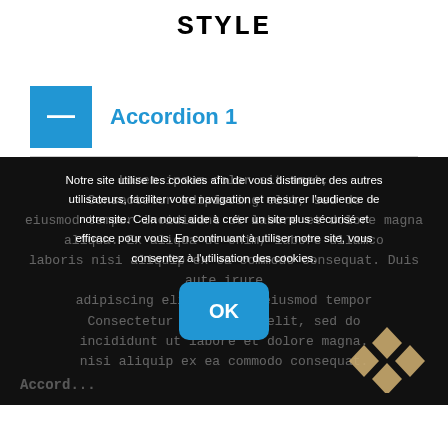STYLE
Accordion 1
Lorem ipsum dolor sit amet, consectetur adipiscing elit, sed do eiusmod tempor incididunt ut labore et dolore magna aliqua. Ex aliqua ut enim, labore ullamco laboris nisi aliquip ex ea commodo consequat. Duis aute irure dolor in reprehenderit, voluptate velit esse cillum dolore eu fugiat nulla pariatur.
Notre site utilise les cookies afin de vous distinguer des autres utilisateurs, faciliter votre navigation et mesurer l'audience de notre site. Cela nous aide à créer un site plus sécurisé et efficace pour vous. En continuant à utiliser notre site, vous consentez à l'utilisation des cookies.
Accordion
[Figure (logo): Diamond/rhombus grid logo in gold/tan color, bottom right corner]